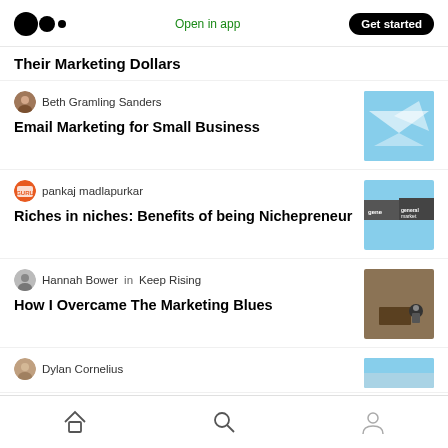Medium logo | Open in app | Get started
Their Marketing Dollars
Beth Gramling Sanders — Email Marketing for Small Business
pankaj madlapurkar — Riches in niches: Benefits of being Nichepreneur
Hannah Bower in Keep Rising — How I Overcame The Marketing Blues
Dylan Cornelius
Home | Search | Profile